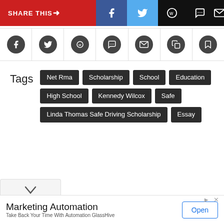[Figure (screenshot): Share this toolbar with social media icons: Facebook (dark blue), Twitter (light blue), WhatsApp, messaging, and email icons on black background]
[Figure (screenshot): Row of circular social media icons: Facebook, Twitter, WhatsApp, messaging/chat, email, copy/clipboard, bookmark]
Tags  Net Rma  Scholarship  School  Education  High School  Kennedy Wilcox  Safe  Linda Thomas Safe Driving Scholarship  Essay
[Figure (screenshot): Collapse chevron button (down arrow) at bottom left]
[Figure (screenshot): Advertisement banner: Marketing Automation - Take Back Your Time With Automation GlassHive - Open button]